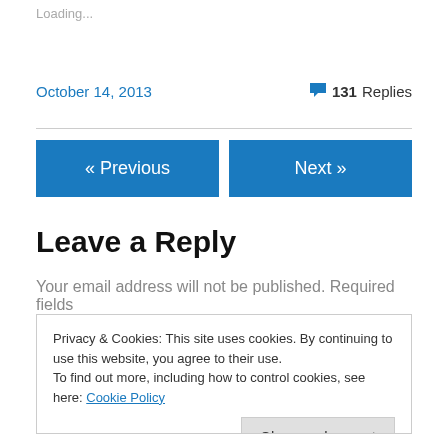Loading...
October 14, 2013
131 Replies
« Previous
Next »
Leave a Reply
Your email address will not be published. Required fields
Privacy & Cookies: This site uses cookies. By continuing to use this website, you agree to their use.
To find out more, including how to control cookies, see here: Cookie Policy
Close and accept